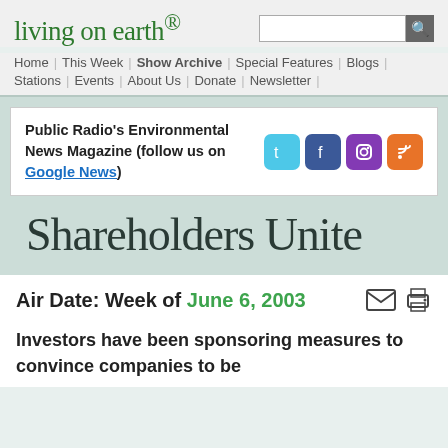living on earth®
Home | This Week | Show Archive | Special Features | Blogs | Stations | Events | About Us | Donate | Newsletter
Public Radio's Environmental News Magazine (follow us on Google News)
Shareholders Unite
Air Date: Week of June 6, 2003
Investors have been sponsoring measures to convince companies to be